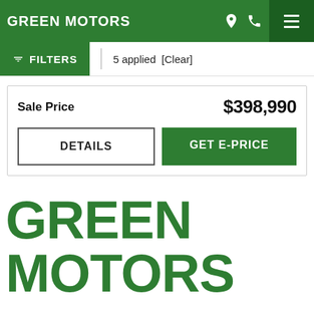GREEN MOTORS
FILTERS  5 applied  [Clear]
Sale Price  $398,990
DETAILS
GET E-PRICE
GREEN MOTORS